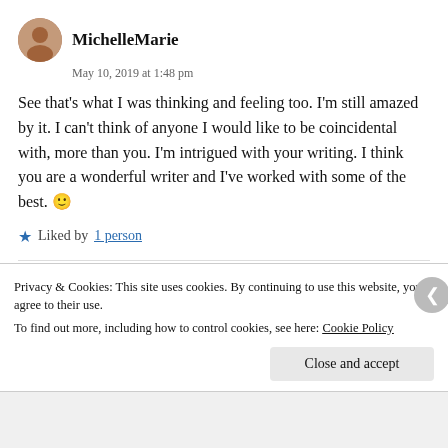MichelleMarie
May 10, 2019 at 1:48 pm
See that's what I was thinking and feeling too. I'm still amazed by it. I can't think of anyone I would like to be coincidental with, more than you. I'm intrigued with your writing. I think you are a wonderful writer and I've worked with some of the best. 🙂
★ Liked by 1 person
Watt
Privacy & Cookies: This site uses cookies. By continuing to use this website, you agree to their use. To find out more, including how to control cookies, see here: Cookie Policy
Close and accept